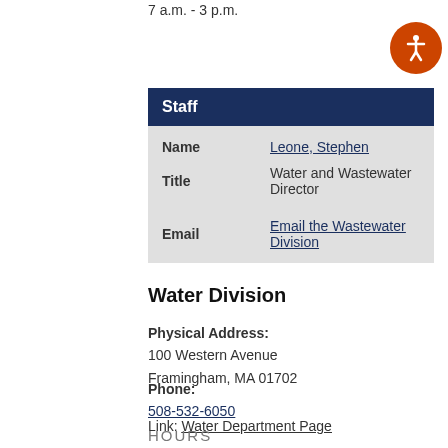7 a.m. - 3 p.m.
| Staff |  |
| --- | --- |
| Name | Leone, Stephen |
| Title | Water and Wastewater Director |
| Email | Email the Wastewater Division |
Water Division
Physical Address:
100 Western Avenue
Framingham, MA 01702
Phone:
508-532-6050
Link: Water Department Page
HOURS